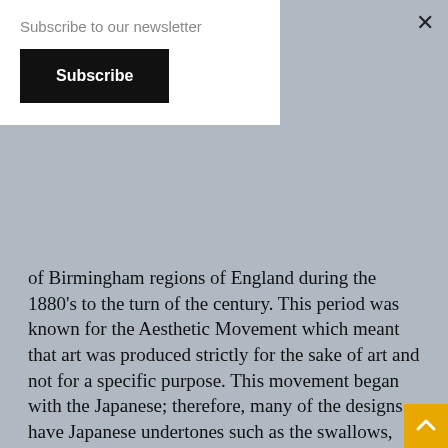Subscribe to our newsletter
Subscribe
of Birmingham regions of England during the 1880's to the turn of the century. This period was known for the Aesthetic Movement which meant that art was produced strictly for the sake of art and not for a specific purpose. This movement began with the Japanese; therefore, many of the designs have Japanese undertones such as the swallows, bamboo, sunflowers, and butterflies. This movement was obviously connected to nature and meant to be somewhat sensual. Each design was chosen for its simplicity in stylizing it onto a piece of jewelry or other art form. Birds were represented by the swallows or cranes, insects by butterflies, plants by bamboo or sunflowers. These designs were found on the bracelets, lockets, earrings, and pins from this era. In Victorian times, they were very much into